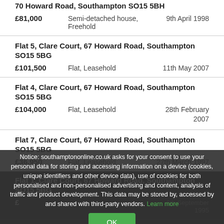70 Howard Road, Southampton SO15 5BH — £81,000 — Semi-detached house, Freehold — 9th April 1998
Flat 5, Clare Court, 67 Howard Road, Southampton SO15 5BG — £101,500 — Flat, Leasehold — 11th May 2007
Flat 4, Clare Court, 67 Howard Road, Southampton SO15 5BG — £104,000 — Flat, Leasehold — 28th February 2007
Flat 7, Clare Court, 67 Howard Road, Southampton SO15 5BG — £36,950 — Flat, Leasehold — 27th March 1997
Flat 1, Clare Court, 67 Howard Road, Southampton SO15 5BG — £[price] — Flat, Leasehold — 6th September 1995
[address] — £36,000 — Flat, Leasehold — 20th June 1997
Notice: southamptononline.co.uk asks for your consent to use your personal data for storing and accessing information on a device (cookies, unique identifiers and other device data), use of cookies for both personalised and non-personalised advertising and content, analysis of traffic and product development. This data may be stored by, accessed by and shared with third-party vendors. Learn more